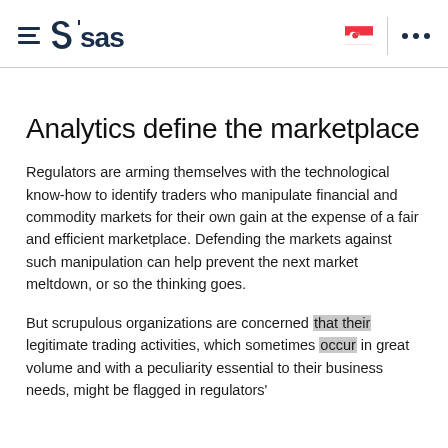SAS logo header with hamburger menu, Singapore flag, and navigation dots
Analytics define the marketplace
Regulators are arming themselves with the technological know-how to identify traders who manipulate financial and commodity markets for their own gain at the expense of a fair and efficient marketplace. Defending the markets against such manipulation can help prevent the next market meltdown, or so the thinking goes.
But scrupulous organizations are concerned that their legitimate trading activities, which sometimes occur in great volume and with a peculiarity essential to their business needs, might be flagged in regulators'